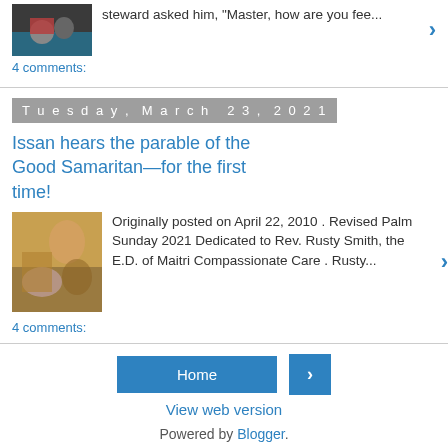[Figure (photo): Thumbnail photo of a person holding a red book]
steward asked him, "Master, how are you fee...
4 comments:
Tuesday, March 23, 2021
Issan hears the parable of the Good Samaritan—for the first time!
[Figure (photo): Painting of figures, classical style]
Originally posted on April 22, 2010 . Revised Palm Sunday 2021 Dedicated to Rev. Rusty Smith, the E.D. of Maitri Compassionate Care . Rusty...
4 comments:
Home
View web version
Powered by Blogger.